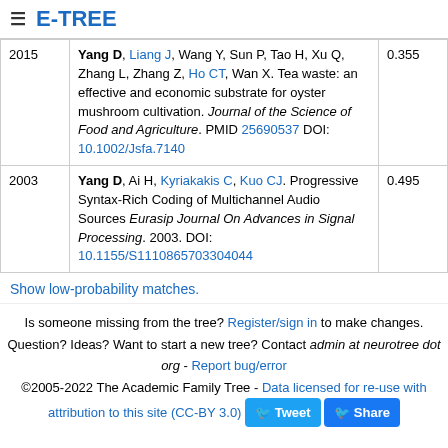E-TREE
| Year | Reference | Score |
| --- | --- | --- |
| 2015 | Yang D, Liang J, Wang Y, Sun P, Tao H, Xu Q, Zhang L, Zhang Z, Ho CT, Wan X. Tea waste: an effective and economic substrate for oyster mushroom cultivation. Journal of the Science of Food and Agriculture. PMID 25690537 DOI: 10.1002/Jsfa.7140 | 0.355 |
| 2003 | Yang D, Ai H, Kyriakakis C, Kuo CJ. Progressive Syntax-Rich Coding of Multichannel Audio Sources Eurasip Journal On Advances in Signal Processing. 2003. DOI: 10.1155/S1110865703304044 | 0.495 |
Show low-probability matches.
Is someone missing from the tree? Register/sign in to make changes. Question? Ideas? Want to start a new tree? Contact admin at neurotree dot org - Report bug/error ©2005-2022 The Academic Family Tree - Data licensed for re-use with attribution to this site (CC-BY 3.0)